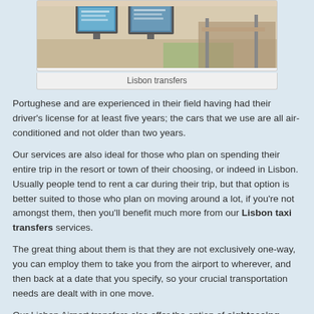[Figure (photo): Interior photo of what appears to be an airport or transport hub with screens/monitors on wall and seating area]
Lisbon transfers
Portughese and are experienced in their field having had their driver's license for at least five years; the cars that we use are all air-conditioned and not older than two years.
Our services are also ideal for those who plan on spending their entire trip in the resort or town of their choosing, or indeed in Lisbon. Usually people tend to rent a car during their trip, but that option is better suited to those who plan on moving around a lot, if you're not amongst them, then you'll benefit much more from our Lisbon taxi transfers services.
The great thing about them is that they are not exclusively one-way, you can employ them to take you from the airport to wherever, and then back at a date that you specify, so your crucial transportation needs are dealt with in one move.
Our Lisbon Airport transfers also offer the option of sightseeing tours, not only in Lisbon but also in other interesting Portuquese